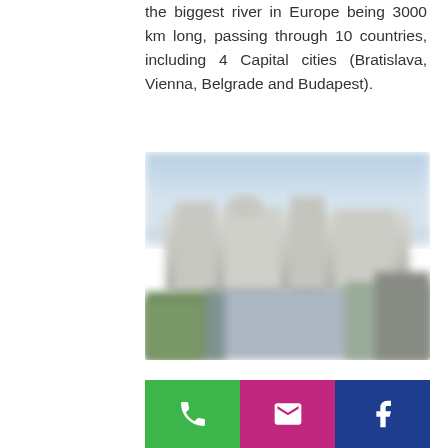the biggest river in Europe being 3000 km long, passing through 10 countries, including 4 Capital cities (Bratislava, Vienna, Belgrade and Budapest).
[Figure (photo): Blurred/soft-focus photograph of a riverside cityscape with buildings and water, possibly a Danube River city such as Bratislava, Vienna, Belgrade, or Budapest.]
[Figure (infographic): Footer bar with three colored buttons: green phone icon, pink/magenta email envelope icon, blue Facebook icon.]